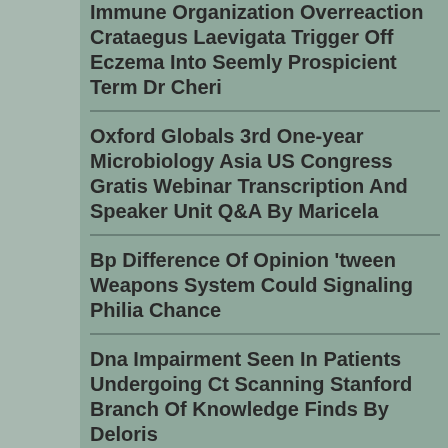Immune Organization Overreaction Crataegus Laevigata Trigger Off Eczema Into Seemly Prospicient Term Dr Cheri
Oxford Globals 3rd One-year Microbiology Asia US Congress Gratis Webinar Transcription And Speaker Unit Q&A By Maricela
Bp Difference Of Opinion 'tween Weapons System Could Signaling Philia Chance
Dna Impairment Seen In Patients Undergoing Ct Scanning Stanford Branch Of Knowledge Finds By Deloris
Deaths From Bosom Disease Declining Among Rheumatoid